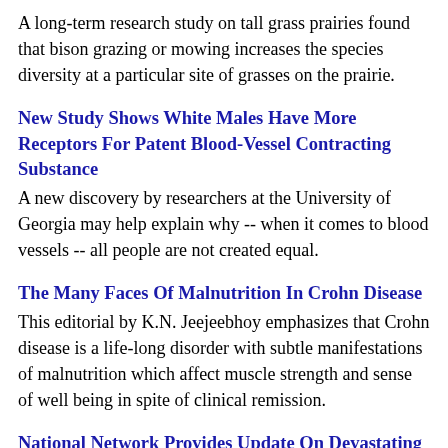A long-term research study on tall grass prairies found that bison grazing or mowing increases the species diversity at a particular site of grasses on the prairie.
New Study Shows White Males Have More Receptors For Patent Blood-Vessel Contracting Substance
A new discovery by researchers at the University of Georgia may help explain why -- when it comes to blood vessels -- all people are not created equal.
The Many Faces Of Malnutrition In Crohn Disease
This editorial by K.N. Jeejeebhoy emphasizes that Crohn disease is a life-long disorder with subtle manifestations of malnutrition which affect muscle strength and sense of well being in spite of clinical remission.
National Network Provides Update On Devastating Corn Disease
Researchers are determined to investigate the devastating corn disease...